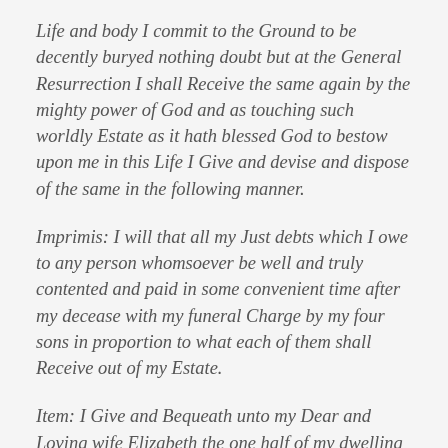Life and body I commit to the Ground to be decently buryed nothing doubt but at the General Resurrection I shall Receive the same again by the mighty power of God and as touching such worldly Estate as it hath blessed God to bestow upon me in this Life I Give and devise and dispose of the same in the following manner.
Imprimis: I will that all my Just debts which I owe to any person whomsoever be well and truly contented and paid in some convenient time after my decease with my funeral Charge by my four sons in proportion to what each of them shall Receive out of my Estate.
Item: I Give and Bequeath unto my Dear and Loving wife Elizabeth the one half of my dwelling house